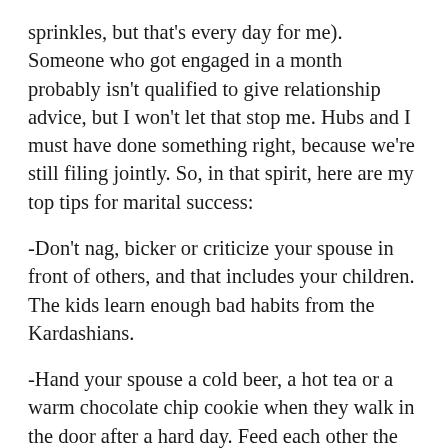sprinkles, but that's every day for me). Someone who got engaged in a month probably isn't qualified to give relationship advice, but I won't let that stop me. Hubs and I must have done something right, because we're still filing jointly. So, in that spirit, here are my top tips for marital success:
-Don't nag, bicker or criticize your spouse in front of others, and that includes your children. The kids learn enough bad habits from the Kardashians.
-Hand your spouse a cold beer, a hot tea or a warm chocolate chip cookie when they walk in the door after a hard day. Feed each other the cookie simultaneously if you both walk in at the same time.
-Treat your spouse better than anyone else in the world. If you and your sweetie are each other's most